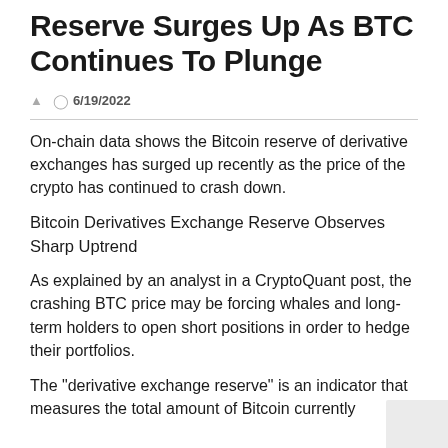Reserve Surges Up As BTC Continues To Plunge
6/19/2022
On-chain data shows the Bitcoin reserve of derivative exchanges has surged up recently as the price of the crypto has continued to crash down.
Bitcoin Derivatives Exchange Reserve Observes Sharp Uptrend
As explained by an analyst in a CryptoQuant post, the crashing BTC price may be forcing whales and long-term holders to open short positions in order to hedge their portfolios.
The "derivative exchange reserve" is an indicator that measures the total amount of Bitcoin currently